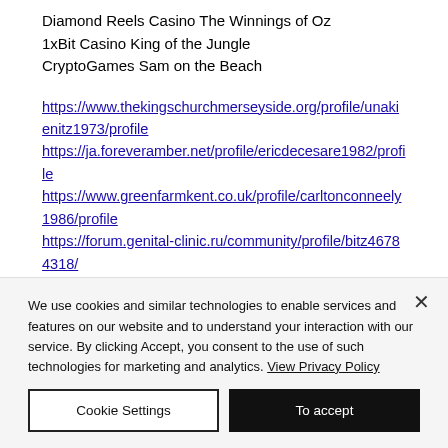Diamond Reels Casino The Winnings of Oz
1xBit Casino King of the Jungle
CryptoGames Sam on the Beach
https://www.thekingschurchmerseyside.org/profile/unakienitz1973/profile
https://ja.foreveramber.net/profile/ericdecesare1982/profile
https://www.greenfarmkent.co.uk/profile/carltonconneely1986/profile
https://forum.genital-clinic.ru/community/profile/bitz46784318/
We use cookies and similar technologies to enable services and features on our website and to understand your interaction with our service. By clicking Accept, you consent to the use of such technologies for marketing and analytics. View Privacy Policy
Cookie Settings | To accept